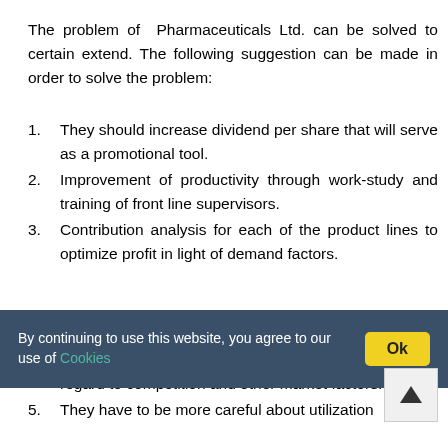The problem of Pharmaceuticals Ltd. can be solved to certain extend. The following suggestion can be made in order to solve the problem:
They should increase dividend per share that will serve as a promotional tool.
Improvement of productivity through work-study and training of front line supervisors.
Contribution analysis for each of the product lines to optimize profit in light of demand factors.
effects to bring selling prices in line with costs having regard to competition and other market factors.
They have to be more careful about utilization